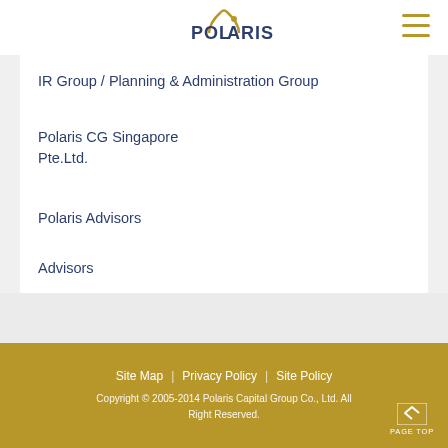Polaris
IR Group / Planning & Administration Group
Polaris CG Singapore Pte.Ltd.
Polaris Advisors
Advisors
Map to Polaris
FAQ
Site Map | Privacy Policy | Site Policy
Copyright © 2005-2014 Polaris Capital Group Co., Ltd. All Right Reserved.